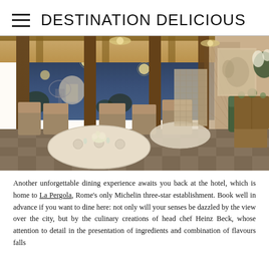DESTINATION DELICIOUS
[Figure (photo): Interior of La Pergola restaurant at dusk, showing elegant dining room with set tables, upholstered chairs, wooden columns, large open windows with a panoramic view of Rome at twilight, globe pendant lights, ornate decor, and floral arrangements.]
Another unforgettable dining experience awaits you back at the hotel, which is home to La Pergola, Rome's only Michelin three-star establishment. Book well in advance if you want to dine here: not only will your senses be dazzled by the view over the city, but by the culinary creations of head chef Heinz Beck, whose attention to detail in the presentation of ingredients and combination of flavours falls